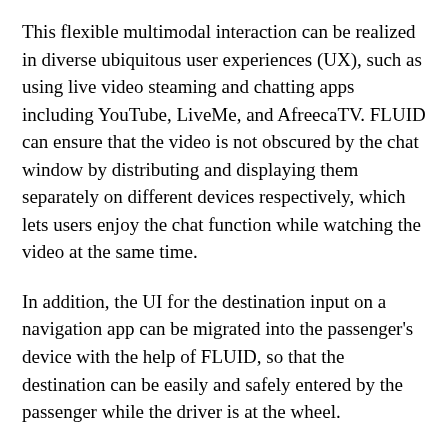This flexible multimodal interaction can be realized in diverse ubiquitous user experiences (UX), such as using live video steaming and chatting apps including YouTube, LiveMe, and AfreecaTV. FLUID can ensure that the video is not obscured by the chat window by distributing and displaying them separately on different devices respectively, which lets users enjoy the chat function while watching the video at the same time.
In addition, the UI for the destination input on a navigation app can be migrated into the passenger's device with the help of FLUID, so that the destination can be easily and safely entered by the passenger while the driver is at the wheel.
FLUID can also support 5G multi-view apps - the latest service that allows sports or games to be viewed from various angles on a single device. With FLUID, the user can